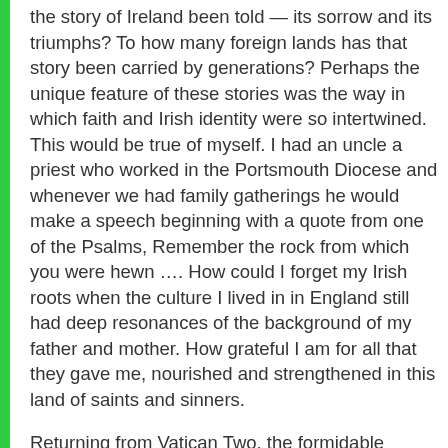the story of Ireland been told — its sorrow and its triumphs? To how many foreign lands has that story been carried by generations? Perhaps the unique feature of these stories was the way in which faith and Irish identity were so intertwined. This would be true of myself. I had an uncle a priest who worked in the Portsmouth Diocese and whenever we had family gatherings he would make a speech beginning with a quote from one of the Psalms, Remember the rock from which you were hewn …. How could I forget my Irish roots when the culture I lived in in England still had deep resonances of the background of my father and mother. How grateful I am for all that they gave me, nourished and strengthened in this land of saints and sinners.
Returning from Vatican Two, the formidable